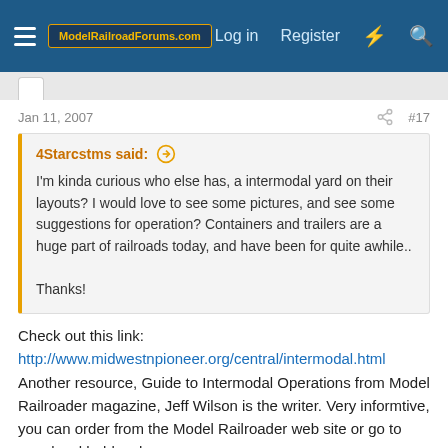ModelRailroadForums.com — Log in | Register
Jan 11, 2007  #17
4Starcstms said:
I'm kinda curious who else has, a intermodal yard on their layouts? I would love to see some pictures, and see some suggestions for operation? Containers and trailers are a huge part of railroads today, and have been for quite awhile..

Thanks!
Check out this link:
http://www.midwestnpioneer.org/central/intermodal.html
Another resource, Guide to Intermodal Operations from Model Railroader magazine, Jeff Wilson is the writer. Very informtive, you can order from the Model Railroader web site or go to your local hobby shop.